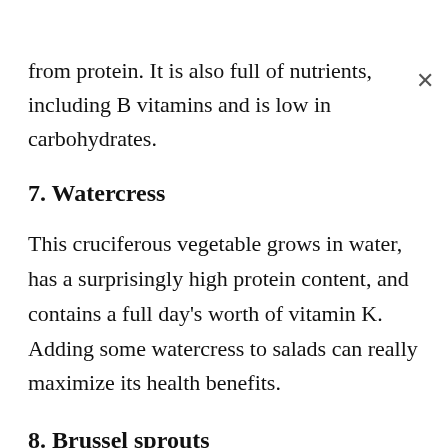from protein. It is also full of nutrients, including B vitamins and is low in carbohydrates.
7. Watercress
This cruciferous vegetable grows in water, has a surprisingly high protein content, and contains a full day's worth of vitamin K. Adding some watercress to salads can really maximize its health benefits.
8. Brussel sprouts